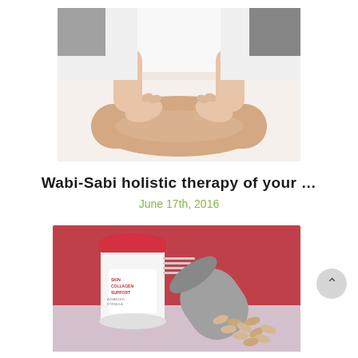[Figure (photo): A massage therapist in white clothing using both hands to massage a person's bare leg on a white massage table. The scene is set in a spa or wellness environment.]
Wabi-Sabi holistic therapy of your …
June 17th, 2016
[Figure (photo): A white cylindrical container labeled 'SKIN COLLAGEN SUPPORT' with a red lid, next to a decorative grey patterned cylindrical container full of beige/tan capsules spilling out, set against a pink/red background.]